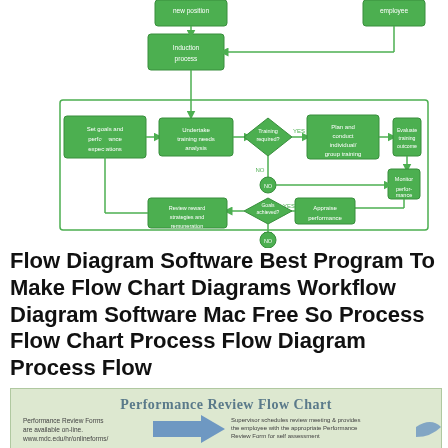[Figure (flowchart): Green flowchart showing HR/training process flow with boxes and diamonds for: new position, induction process, set goals and performance expectations, undertake training needs analysis, Training required? (diamond), Plan and conduct individual/group training, Evaluate training outcome, Monitor performance, Appraise performance, Review reward strategies and remuneration, Goals achieved? (diamond), with YES/NO connectors.]
Flow Diagram Software Best Program To Make Flow Chart Diagrams Workflow Diagram Software Mac Free So Process Flow Chart Process Flow Diagram Process Flow
[Figure (infographic): Performance Review Flow Chart infographic with light green/teal background showing title 'Performance Review Flow Chart', left text about Performance Review Forms available online at www.mdc.edu/hr/onlineforms/, a blue arrow pointing right, and right text about Supervisor schedules review meeting & provides the employee with the appropriate Performance Review Form for self assessment.]